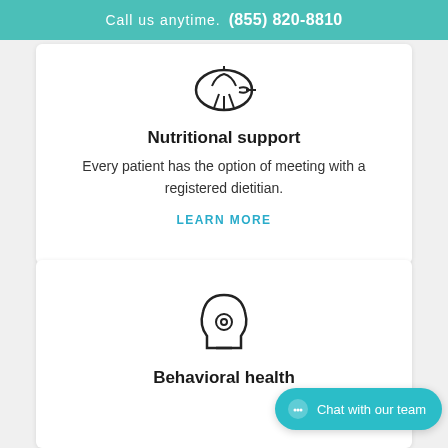Call us anytime. (855) 820-8810
[Figure (illustration): Hand/fork icon representing nutritional support]
Nutritional support
Every patient has the option of meeting with a registered dietitian.
LEARN MORE
[Figure (illustration): Head with gear/mind icon representing behavioral health]
Behavioral health
Chat with our team